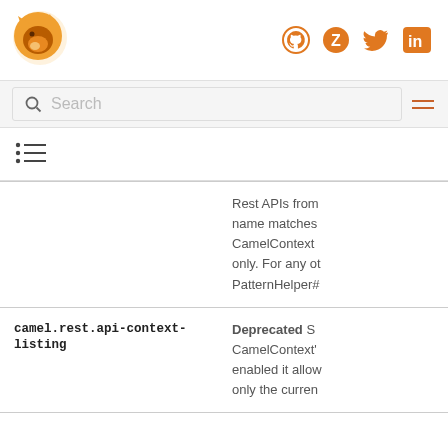[Figure (logo): Apache Camel fox logo in orange]
[Figure (infographic): Social media icons: GitHub, Zulip, Twitter, LinkedIn in orange]
Search
[Figure (infographic): Hamburger menu icon with two orange lines]
[Figure (infographic): Table of contents list icon]
Rest APIs from name matches CamelContext only. For any ot PatternHelper#
camel.rest.api-context-listing
Deprecated S CamelContext' enabled it allow only the curren